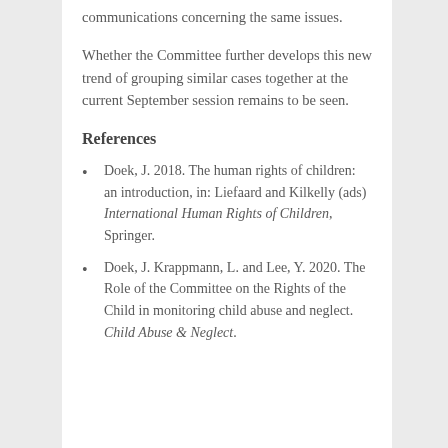communications concerning the same issues.
Whether the Committee further develops this new trend of grouping similar cases together at the current September session remains to be seen.
References
Doek, J. 2018. The human rights of children: an introduction, in: Liefaard and Kilkelly (ads) International Human Rights of Children, Springer.
Doek, J. Krappmann, L. and Lee, Y. 2020. The Role of the Committee on the Rights of the Child in monitoring child abuse and neglect. Child Abuse & Neglect.